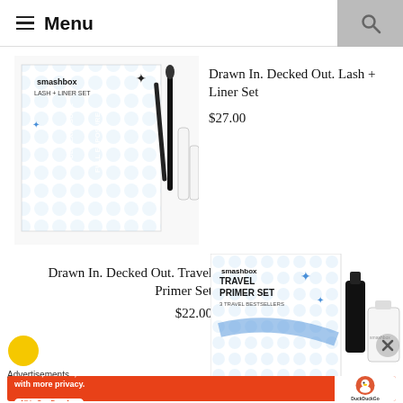Menu
[Figure (photo): Smashbox Lash + Liner Set product image showing box and cosmetic tools including mascara and liner]
Drawn In. Decked Out. Lash + Liner Set
$27.00
[Figure (photo): Smashbox Travel Primer Set product image showing box and primer bottles]
Drawn In. Decked Out. Travel Primer Set
$22.00
Advertisements
[Figure (screenshot): DuckDuckGo advertisement banner: Search, browse, and email with more privacy. All in One Free App. DuckDuckGo logo.]